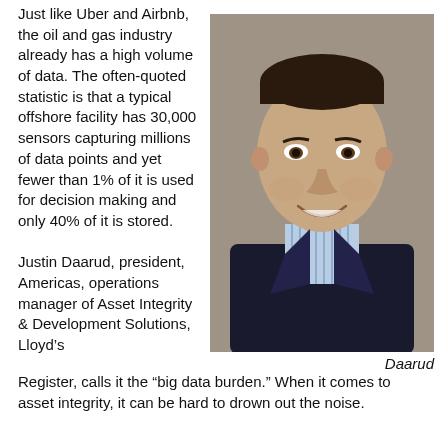Just like Uber and Airbnb, the oil and gas industry already has a high volume of data. The often-quoted statistic is that a typical offshore facility has 30,000 sensors capturing millions of data points and yet fewer than 1% of it is used for decision making and only 40% of it is stored.
[Figure (photo): Headshot photo of Justin Daarud, a man in a blue checked shirt and dark jacket, smiling, against a grey background.]
Daarud
Justin Daarud, president, Americas, operations manager of Asset Integrity & Development Solutions, Lloyd's Register, calls it the “big data burden.” When it comes to asset integrity, it can be hard to drown out the noise.